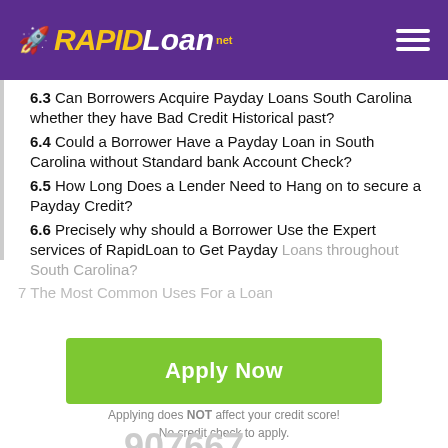RapidLoan.net
6.3 Can Borrowers Acquire Payday Loans South Carolina whether they have Bad Credit Historical past?
6.4 Could a Borrower Have a Payday Loan in South Carolina without Standard bank Account Check?
6.5 How Long Does a Lender Need to Hang on to secure a Payday Credit?
6.6 Precisely why should a Borrower Use the Expert services of RapidLoan to Get Payday Loans throughout South Carolina?
7 The Most Common Uses For a Loan
[Figure (other): Green Apply Now button]
Applying does NOT affect your credit score! No credit check to apply.
Loans Processed 907667